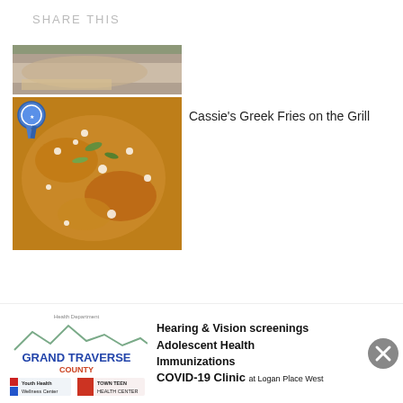SHARE THIS
[Figure (photo): Top portion of a food photo, appears to be a sandwich or bread item]
[Figure (photo): Greek fries on the grill with feta cheese and herbs, with a blue ribbon badge overlay]
Cassie's Greek Fries on the Grill
[Figure (logo): Grand Traverse County Health Department logo with Youth Health Wellness Center and Town Teen Health Center logos]
Hearing & Vision screenings Adolescent Health Immunizations COVID-19 Clinic at Logan Place West